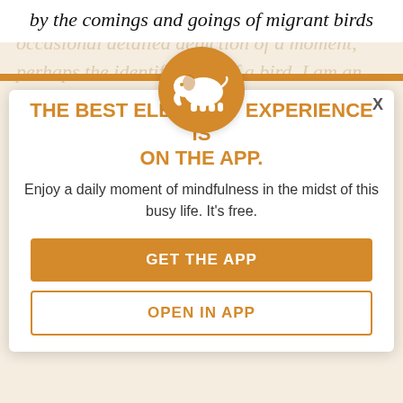by the comings and goings of migrant birds
[Figure (infographic): Modal popup with orange elephant logo circle, orange bold title, descriptive text, and two buttons: GET THE APP and OPEN IN APP]
THE BEST ELEPHANT EXPERIENCE IS ON THE APP.
Enjoy a daily moment of mindfulness in the midst of this busy life. It's free.
GET THE APP
OPEN IN APP